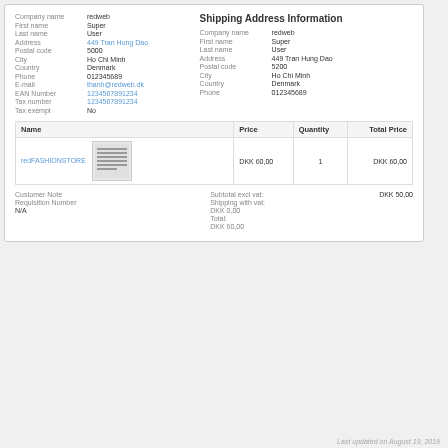| Field | Value |
| --- | --- |
| Company name | redweb |
| First name | Super |
| Last name | User |
| Address | 449 Tran Hung Dao |
| Postal code | 5000 |
| City | Ho Chi Minh |
| Country | Denmark |
| Phone | 012345689 |
| E-mail | thanh@redweb.dk |
| EAN Number | 1234567891234 |
| Tax number | 1234567891234 |
| Tax exempt | No |
Shipping Address Information
| Field | Value |
| --- | --- |
| Company name | redweb |
| First name | Super |
| Last name | User |
| Address | 449 Tran Hung Dao |
| Postal code | 5200 |
| City | Ho Chi Minh |
| Country | Denmark |
| Phone | 012345689 |
| Name | Price | Quantity | Total Price |
| --- | --- | --- | --- |
| redFASHIONSTORE | DKK 60,00 | 1 | DKK 60,00 |
Customer Note
Requisition Number
N/A
Subtotal excl vat: DKK 50,00
Shipping with vat:
DKK 0,00
Total:
DKK 60,00
Last updated on August 19, 2019